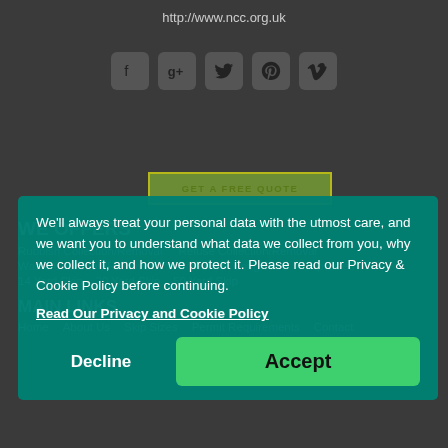http://www.ncc.org.uk
[Figure (illustration): Social media icon buttons: Facebook, Google+, Twitter, Pinterest, Vimeo]
GET A FREE QUOTE
WE OFFERS
Rubbish Collection/Removal   Refuse Collection/Removal
Waste Collection/Removal   Short Term   Long Term   Skip Sizes
14 Yard Skip   20 Yard Skip   50 Yard Skip
We'll always treat your personal data with the utmost care, and we want you to understand what data we collect from you, why we collect it, and how we protect it. Please read our Privacy & Cookie Policy before continuing.
Read Our Privacy and Cookie Policy
Decline
Accept
MAIN LINKS
Home   About Us   Skip Sizes   Permit Requirements   Contact